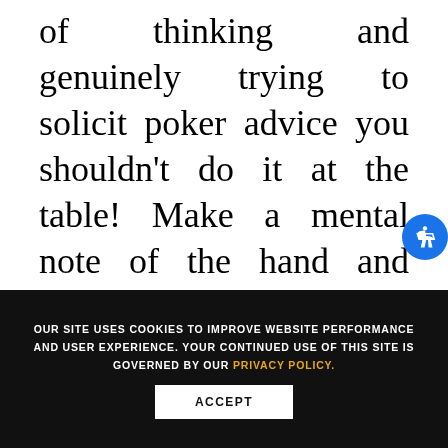of thinking and genuinely trying to solicit poker advice you shouldn't do it at the table! Make a mental note of the hand and have one or two poker friends that you respect and trust talk with you about it
OUR SITE USES COOKIES TO IMPROVE WEBSITE PERFORMANCE AND USER EXPERIENCE. YOUR CONTINUED USE OF THIS SITE IS GOVERNED BY OUR PRIVACY POLICY.
ACCEPT